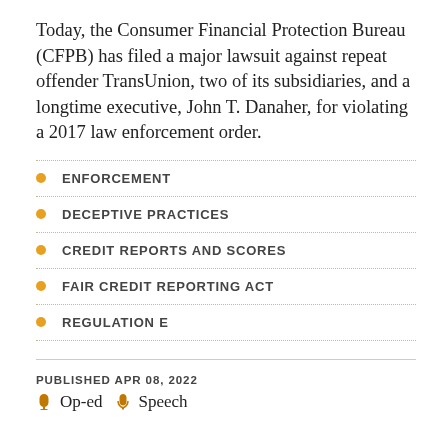Today, the Consumer Financial Protection Bureau (CFPB) has filed a major lawsuit against repeat offender TransUnion, two of its subsidiaries, and a longtime executive, John T. Danaher, for violating a 2017 law enforcement order.
ENFORCEMENT
DECEPTIVE PRACTICES
CREDIT REPORTS AND SCORES
FAIR CREDIT REPORTING ACT
REGULATION E
PUBLISHED APR 08, 2022
Op-ed  Speech